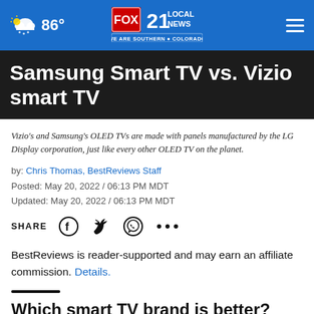86° | FOX 21 LOCAL NEWS - WE ARE SOUTHERN COLORADO
Samsung Smart TV vs. Vizio smart TV
Vizio's and Samsung's OLED TVs are made with panels manufactured by the LG Display corporation, just like every other OLED TV on the planet.
by: Chris Thomas, BestReviews Staff
Posted: May 20, 2022 / 06:13 PM MDT
Updated: May 20, 2022 / 06:13 PM MDT
SHARE
BestReviews is reader-supported and may earn an affiliate commission. Details.
Which smart TV brand is better?